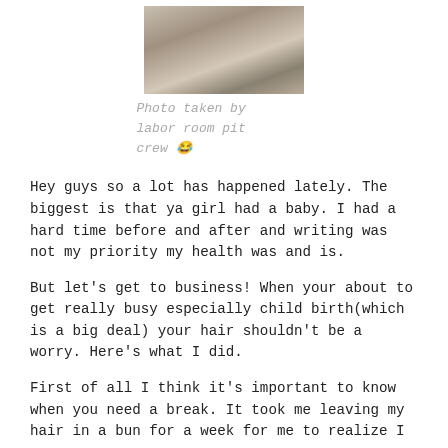[Figure (photo): A person in a hospital/labor room setting, photo taken from above, showing hands and items on a surface.]
Photo taken by labor room pit crew 😂
Hey guys so a lot has happened lately. The biggest is that ya girl had a baby. I had a hard time before and after and writing was not my priority my health was and is.
But let's get to business! When your about to get really busy especially child birth(which is a big deal) your hair shouldn't be a worry. Here's what I did.
First of all I think it's important to know when you need a break. It took me leaving my hair in a bun for a week for me to realize I